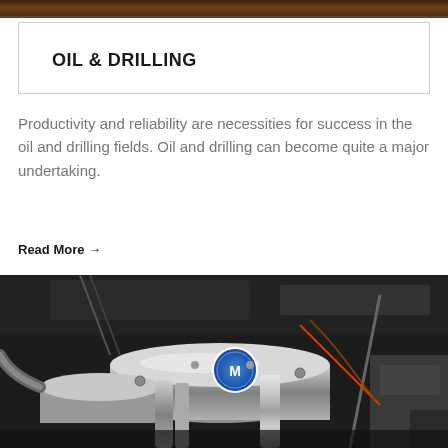[Figure (photo): Dark brown/wooden textured banner image at the top of the page]
OIL & DRILLING
Productivity and reliability are necessities for success in the oil and drilling fields. Oil and drilling can become quite a major undertaking.
Read More →
[Figure (photo): Close-up photograph of a chrome/silver engine with mechanical components, hoses, and a blue circular logo/badge visible on the engine block]